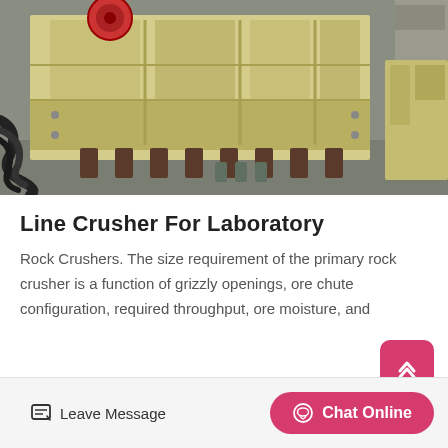[Figure (photo): Industrial jaw crusher machine in cream/yellow color, sitting on dark rubber mounts, photographed in a factory/warehouse setting. Black hoses visible on the left side.]
Line Crusher For Laboratory
Rock Crushers. The size requirement of the primary rock crusher is a function of grizzly openings, ore chute configuration, required throughput, ore moisture, and
Leave Message   Chat Online